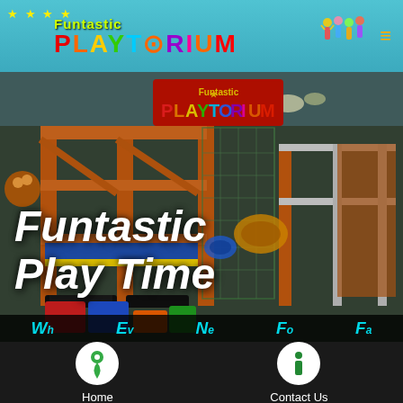[Figure (screenshot): Website screenshot of Funtastic Playtorium indoor playground. Shows colorful header with rainbow-colored PLAYTORIUM logo on teal background, photo of indoor playground equipment with orange/blue structures, and white italic hero text reading 'Funtastic Play Time'. Bottom has dark footer with Home and Contact Us navigation icons.]
Funtastic PLAYTORIUM
Funtastic Play Time
Home   Contact Us